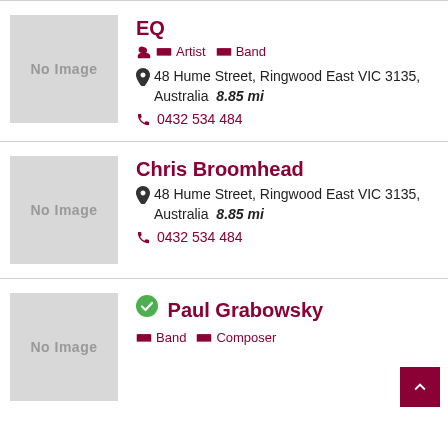[Figure (other): Listing card for EQ: No Image placeholder, title EQ, tags Artist and Band, address 48 Hume Street Ringwood East VIC 3135 Australia 8.85 mi, phone 0432 534 484]
[Figure (other): Listing card for Chris Broomhead: No Image placeholder, title Chris Broomhead, address 48 Hume Street Ringwood East VIC 3135 Australia 8.85 mi, phone 0432 534 484]
[Figure (other): Listing card for Paul Grabowsky: No Image placeholder, verified checkmark, title Paul Grabowsky, tags Band and Composer]